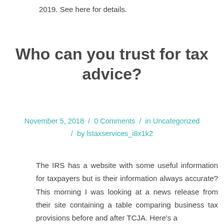2019.  See here for details.
Who can you trust for tax advice?
November 5, 2018  /  0 Comments  /  in Uncategorized  /  by lstaxservices_i8x1k2
The IRS has a website with some useful information for taxpayers but is their information always accurate? This morning I was looking at a news release from their site containing a table comparing business tax provisions before and after TCJA.  Here's a